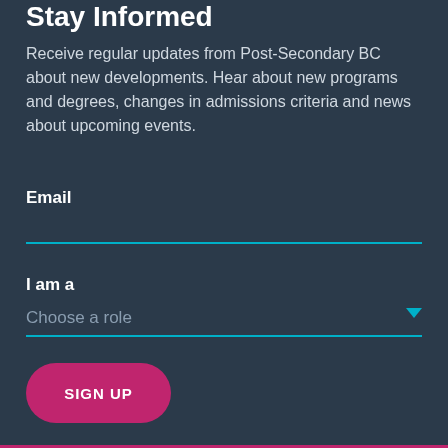Stay Informed
Receive regular updates from Post-Secondary BC about new developments. Hear about new programs and degrees, changes in admissions criteria and news about upcoming events.
Email
I am a
Choose a role
SIGN UP